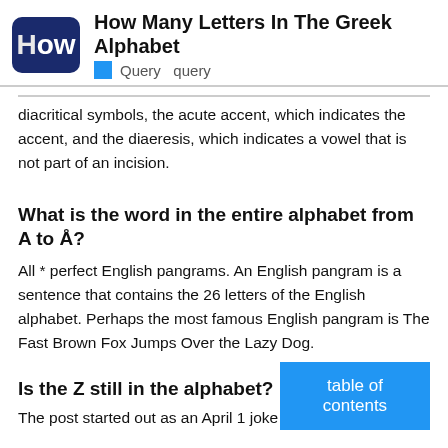How Many Letters In The Greek Alphabet | Query query
diacritical symbols, the acute accent, which indicates the accent, and the diaeresis, which indicates a vowel that is not part of an incision.
What is the word in the entire alphabet from A to Å?
All * perfect English pangrams. An English pangram is a sentence that contains the 26 letters of the English alphabet. Perhaps the most famous English pangram is The Fast Brown Fox Jumps Over the Lazy Dog.
Is the Z still in the alphabet?
The post started out as an April 1 joke that
table of contents